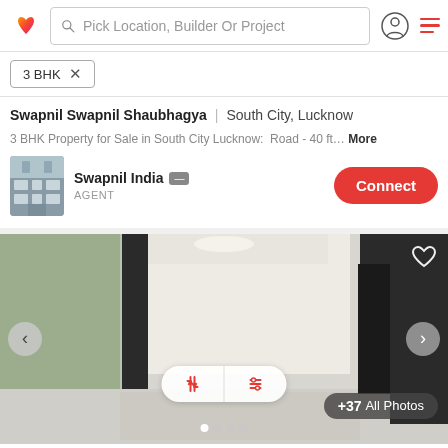Pick Location, Builder Or Project
3 BHK
Swapnil Swapnil Shaubhagya | South City, Lucknow
3 BHK Property for Sale in South City Lucknow: Road - 40 ft... More
Swapnil India  AGENT
[Figure (photo): Agent photo thumbnail showing a building exterior]
Connect
[Figure (photo): Interior room photo of a 3 BHK independent house showing empty rooms with white walls, green accent wall, and black doors. Navigation arrows on left and right. Sort and filter overlay at center-bottom. +37 All Photos badge at bottom right.]
3 BHK Independent House  945 sq ft
₹42